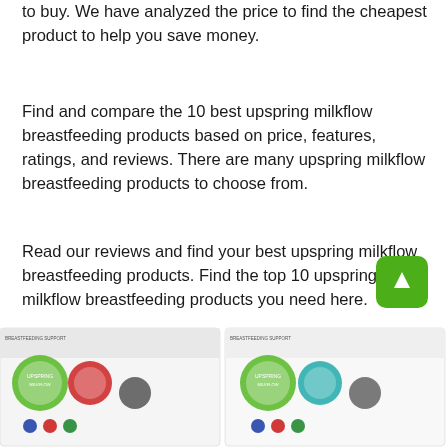to buy. We have analyzed the price to find the cheapest product to help you save money.
Find and compare the 10 best upspring milkflow breastfeeding products based on price, features, ratings, and reviews. There are many upspring milkflow breastfeeding products to choose from.
Read our reviews and find your best upspring milkflow breastfeeding products. Find the top 10 upspring milkflow breastfeeding products you need here.
[Figure (photo): Two product boxes of upspring milkflow breastfeeding supplement, partially visible at the bottom of the page — left box and right box side by side.]